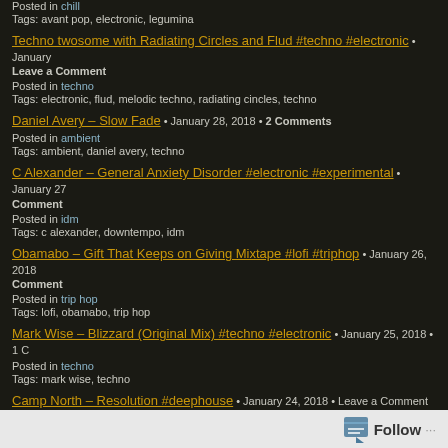Posted in chill
Tags: avant pop, electronic, legumina
Techno twosome with Radiating Circles and Flud #techno #electronic • January … • Leave a Comment
Posted in techno
Tags: electronic, flud, melodic techno, radiating cincles, techno
Daniel Avery – Slow Fade • January 28, 2018 • 2 Comments
Posted in ambient
Tags: ambient, daniel avery, techno
C Alexander – General Anxiety Disorder #electronic #experimental • January 27 … Comment
Posted in idm
Tags: c alexander, downtempo, idm
Obamabo – Gift That Keeps on Giving Mixtape #lofi #triphop • January 26, 2018 … Comment
Posted in trip hop
Tags: lofi, obamabo, trip hop
Mark Wise – Blizzard (Original Mix) #techno #electronic • January 25, 2018 • 1 C…
Posted in techno
Tags: mark wise, techno
Camp North – Resolution #deephouse • January 24, 2018 • Leave a Comment
Follow ...